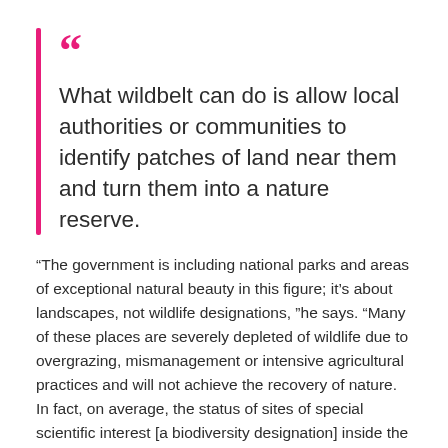What wildbelt can do is allow local authorities or communities to identify patches of land near them and turn them into a nature reserve.
“The government is including national parks and areas of exceptional natural beauty in this figure; it’s about landscapes, not wildlife designations, ”he says. “Many of these places are severely depleted of wildlife due to overgrazing, mismanagement or intensive agricultural practices and will not achieve the recovery of nature. In fact, on average, the status of sites of special scientific interest [a biodiversity designation] inside the national